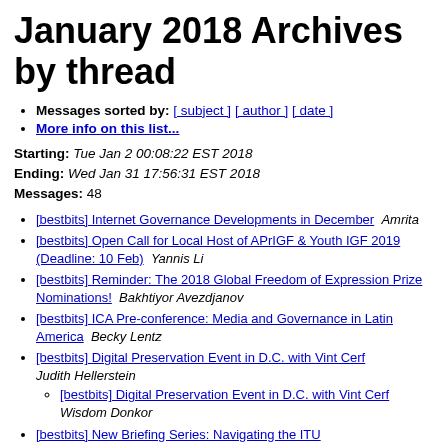January 2018 Archives by thread
Messages sorted by: [ subject ] [ author ] [ date ]
More info on this list...
Starting: Tue Jan 2 00:08:22 EST 2018
Ending: Wed Jan 31 17:56:31 EST 2018
Messages: 48
[bestbits] Internet Governance Developments in December  Amrita
[bestbits] Open Call for Local Host of APrIGF & Youth IGF 2019 (Deadline: 10 Feb)  Yannis Li
[bestbits] Reminder: The 2018 Global Freedom of Expression Prize Nominations!  Bakhtiyor Avezdjanov
[bestbits] ICA Pre-conference: Media and Governance in Latin America  Becky Lentz
[bestbits] Digital Preservation Event in D.C. with Vint Cerf  Judith Hellerstein
[bestbits] Digital Preservation Event in D.C. with Vint Cerf  Wisdom Donkor
[bestbits] New Briefing Series: Navigating the ITU